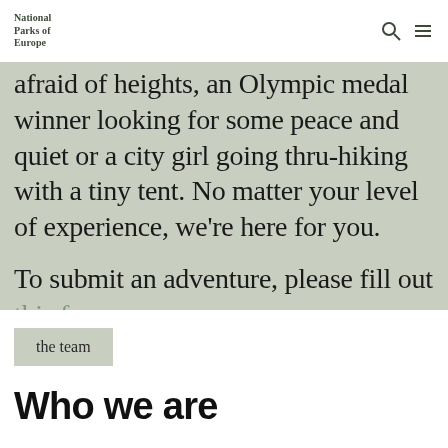National Parks of Europe
afraid of heights, an Olympic medal winner looking for some peace and quiet or a city girl going thru-hiking with a tiny tent. No matter your level of experience, we're here for you.
To submit an adventure, please fill out this form.
the team
Who we are